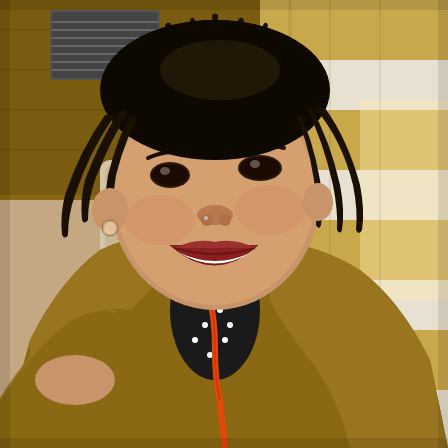[Figure (photo): A smiling woman with black dreadlocks, wearing a mustard/olive jacket over a black polka-dot top, with an orange lanyard around her neck. She is taking a selfie. The background shows a hotel or transit room with striped gold-and-white curtains on the right and brown wood-paneled walls with a ventilation grille on the upper left.]